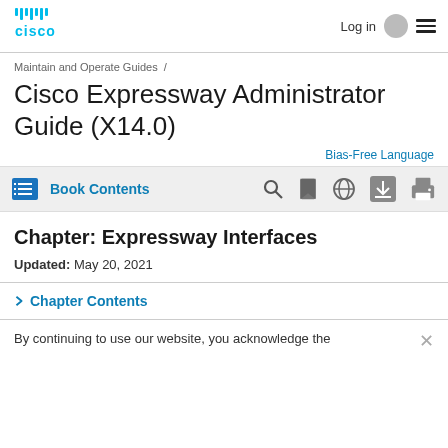Cisco | Log in | Menu
Maintain and Operate Guides /
Cisco Expressway Administrator Guide (X14.0)
Bias-Free Language
Book Contents
Chapter: Expressway Interfaces
Updated: May 20, 2021
> Chapter Contents
By continuing to use our website, you acknowledge the